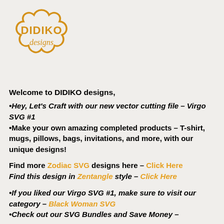[Figure (logo): DIDIKO designs logo — decorative cloud/flower shaped border in orange/gold with 'DIDIKO designs' text inside]
Welcome to DIDIKO designs,
•Hey, Let's Craft with our new vector cutting file – Virgo SVG #1
•Make your own amazing completed products – T-shirt, mugs, pillows, bags, invitations, and more, with our unique designs!
Find more Zodiac SVG designs here – Click Here
Find this design in Zentangle style – Click Here
•If you liked our Virgo SVG #1, make sure to visit our category – Black Woman SVG
•Check out our SVG Bundles and Save Money – Click Here